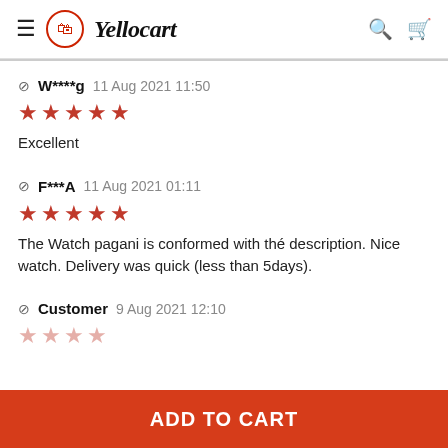Yellocart
W****g 11 Aug 2021 11:50 — 5 stars — Excellent
F***A 11 Aug 2021 01:11 — 5 stars — The Watch pagani is conformed with thé description. Nice watch. Delivery was quick (less than 5days).
Customer 9 Aug 2021 12:10
ADD TO CART